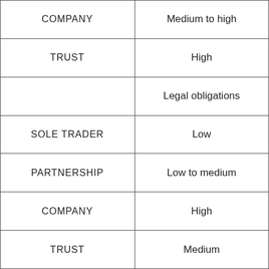| COMPANY | Medium to high |
| TRUST | High |
|  | Legal obligations |
| SOLE TRADER | Low |
| PARTNERSHIP | Low to medium |
| COMPANY | High |
| TRUST | Medium |